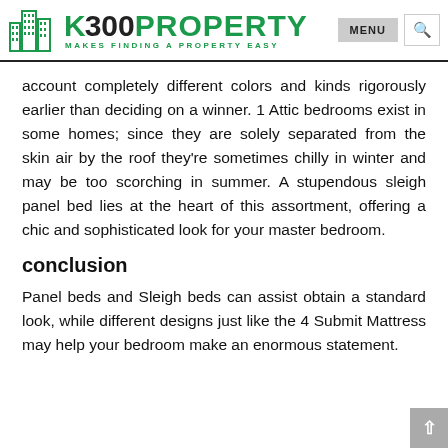K300PROPERTY — MAKES FINDING A PROPERTY EASY | MENU | Search
account completely different colors and kinds rigorously earlier than deciding on a winner. 1 Attic bedrooms exist in some homes; since they are solely separated from the skin air by the roof they're sometimes chilly in winter and may be too scorching in summer. A stupendous sleigh panel bed lies at the heart of this assortment, offering a chic and sophisticated look for your master bedroom.
conclusion
Panel beds and Sleigh beds can assist obtain a standard look, while different designs just like the 4 Submit Mattress may help your bedroom make an enormous statement.